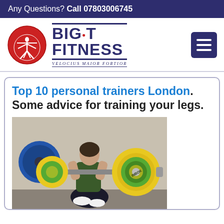Any Questions? Call 07803006745
[Figure (logo): Big T Fitness logo with red circle containing Vitruvian man figure and brand name BIG·T FITNESS with tagline VELOCIUS MAIOR FORTIOR]
Top 10 personal trainers London. Some advice for training your legs.
[Figure (photo): A woman performing a barbell squat in a gym, loaded with yellow and green Olympic bumper plates (Inbok brand), squatting low in athletic wear]